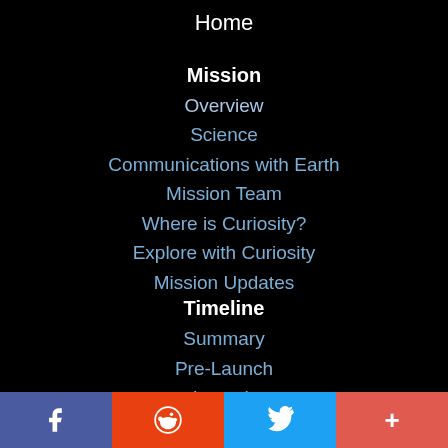Home
Mission
Overview
Science
Communications with Earth
Mission Team
Where is Curiosity?
Explore with Curiosity
Mission Updates
Timeline
Summary
Pre-Launch
Launch
Cruise
Approach
f  reddit  twitter  +